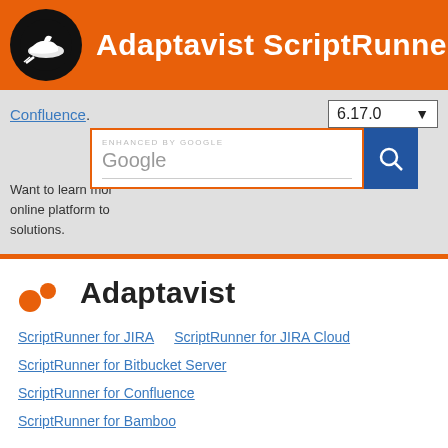Adaptavist ScriptRunner
[Figure (screenshot): Search bar with ENHANCED BY Google label, version dropdown showing 6.17.0, Confluence link, and partial text: Want to learn mor... online platform to... solutions.]
[Figure (logo): Adaptavist logo with orange icon and Adaptavist wordmark]
ScriptRunner for JIRA
ScriptRunner for JIRA Cloud
ScriptRunner for Bitbucket Server
ScriptRunner for Confluence
ScriptRunner for Bamboo
© 2007 - 2021 Adaptavist.com Ltd and Adaptavist Inc